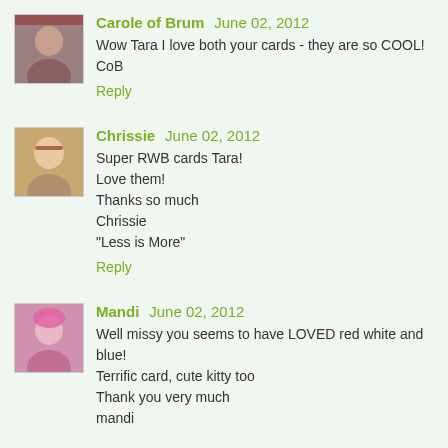Carole of Brum  June 02, 2012
Wow Tara I love both your cards - they are so COOL! CoB
Reply
Chrissie  June 02, 2012
Super RWB cards Tara!
Love them!
Thanks so much
Chrissie
"Less is More"
Reply
Mandi  June 02, 2012
Well missy you seems to have LOVED red white and blue!
Terrific card, cute kitty too
Thank you very much
mandi